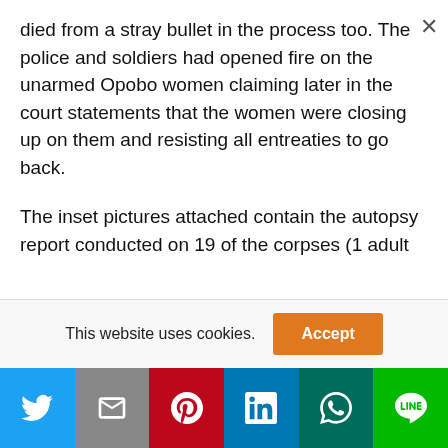died from a stray bullet in the process too. The police and soldiers had opened fire on the unarmed Opobo women claiming later in the court statements that the women were closing up on them and resisting all entreaties to go back.

The inset pictures attached contain the autopsy report conducted on 19 of the corpses (1 adult
This website uses cookies.
Twitter | Gmail | Pinterest | LinkedIn | WhatsApp | Line